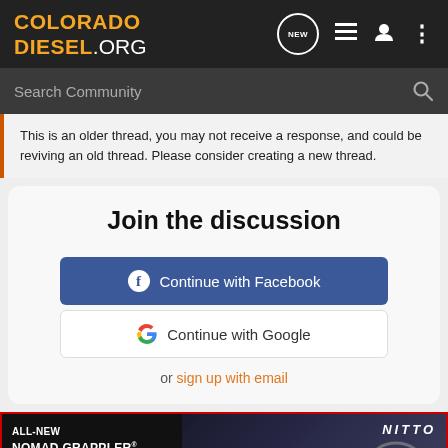COLORADO DIESEL.ORG
This is an older thread, you may not receive a response, and could be reviving an old thread. Please consider creating a new thread.
Join the discussion
Continue with Facebook
Continue with Google
or sign up with email
[Figure (photo): Advertisement banner for Nitto ALL-NEW NOMAD GRAPPLER CROSSOVER-TERRAIN TIRE]
Reco